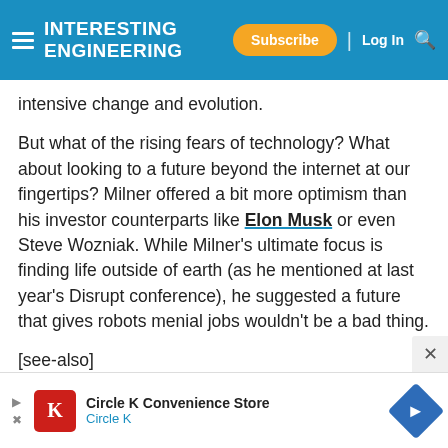Interesting Engineering — Subscribe | Log In
intensive change and evolution.
But what of the rising fears of technology? What about looking to a future beyond the internet at our fingertips? Milner offered a bit more optimism than his investor counterparts like Elon Musk or even Steve Wozniak. While Milner's ultimate focus is finding life outside of earth (as he mentioned at last year's Disrupt conference), he suggested a future that gives robots menial jobs wouldn't be a bad thing.
[see-also]
"I share a fundamentally optimistic view on this,"
[Figure (other): Advertisement banner for Circle K Convenience Store with Circle K logo and navigation icon]